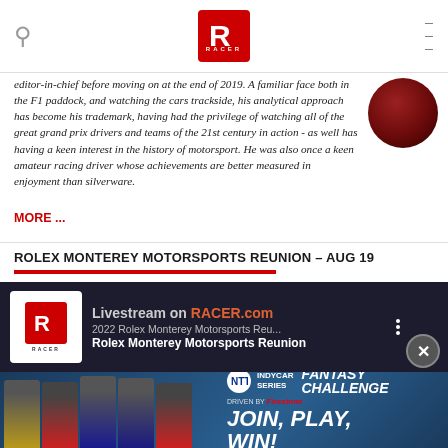RACER (logo)
editor-in-chief before moving on at the end of 2019. A familiar face both in the F1 paddock, and watching the cars trackside, his analytical approach has become his trademark, having had the privilege of watching all of the great grand prix drivers and teams of the 21st century in action - as well has having a keen interest in the history of motorsport. He was also once a keen amateur racing driver whose achievements are better measured in enjoyment than silverware.
MORE ...
[Figure (photo): Circular profile photo of a person, shown from the shoulders up against a dark red/maroon background]
ROLEX MONTEREY MOTORSPORTS REUNION – AUG 19
[Figure (screenshot): Video embed showing Livestream on RACER.com - 2022 Rolex Monterey Motorsports Reu... with subtitle Rolex Monterey Motorsports Reunion. RACER logo on left side, three-dot menu on right.]
[Figure (infographic): Advertisement banner for NTT IndyCar Series Fantasy Challenge driven by Firestone. Shows five racing drivers in suits on the left and JOIN, PLAY, WIN! text on the right with NTT IndyCar Series logo.]